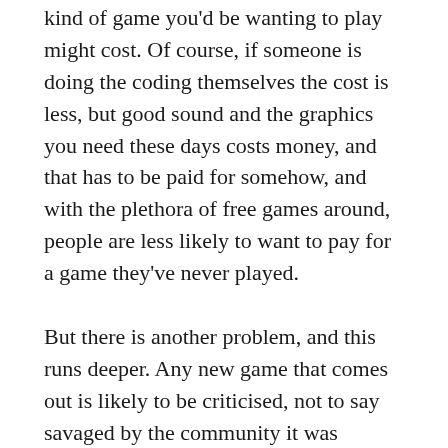kind of game you'd be wanting to play might cost. Of course, if someone is doing the coding themselves the cost is less, but good sound and the graphics you need these days costs money, and that has to be paid for somehow, and with the plethora of free games around, people are less likely to want to pay for a game they've never played.
But there is another problem, and this runs deeper. Any new game that comes out is likely to be criticised, not to say savaged by the community it was developed for. Look how you dismissed Tank Battle Endless Gunner. When you've worked on a game and given it your absolute best shot for months, maybe years, done the best you can with it, only to be told it's